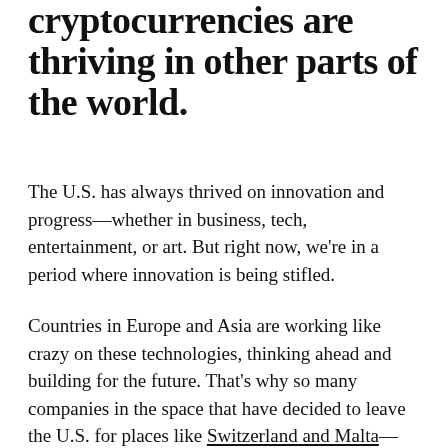cryptocurrencies are thriving in other parts of the world.
The U.S. has always thrived on innovation and progress—whether in business, tech, entertainment, or art. But right now, we're in a period where innovation is being stifled.
Countries in Europe and Asia are working like crazy on these technologies, thinking ahead and building for the future. That's why so many companies in the space that have decided to leave the U.S. for places like Switzerland and Malta—they need stability when it comes to the rules and regulations around what they're doing.